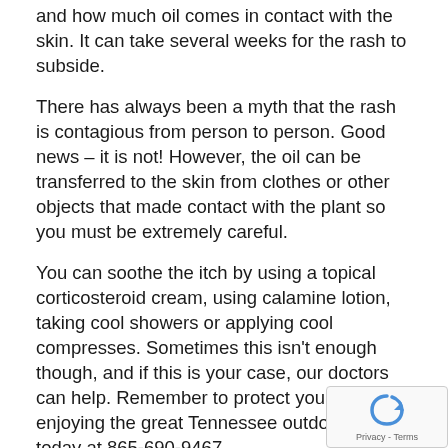and how much oil comes in contact with the skin. It can take several weeks for the rash to subside.
There has always been a myth that the rash is contagious from person to person. Good news – it is not! However, the oil can be transferred to the skin from clothes or other objects that made contact with the plant so you must be extremely careful.
You can soothe the itch by using a topical corticosteroid cream, using calamine lotion, taking cool showers or applying cool compresses. Sometimes this isn't enough though, and if this is your case, our doctors can help. Remember to protect yourself while enjoying the great Tennessee outdoors! Call today at 865-690-9467.
Skin health is an important part of total body wellness. Schedule an appointment with one of our board certified physicians to get your skin the care it needs so it can reach